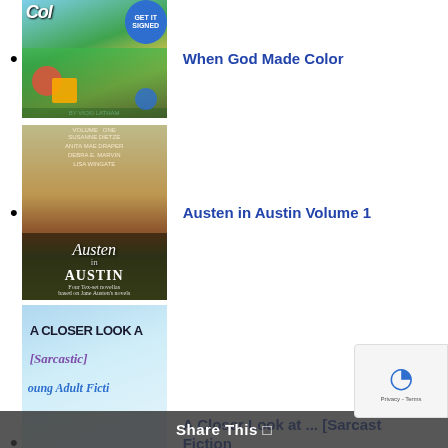When God Made Color
Austen in Austin Volume 1
A Closer Look at ... [Sarcastic] Young Adult Fiction
Share This